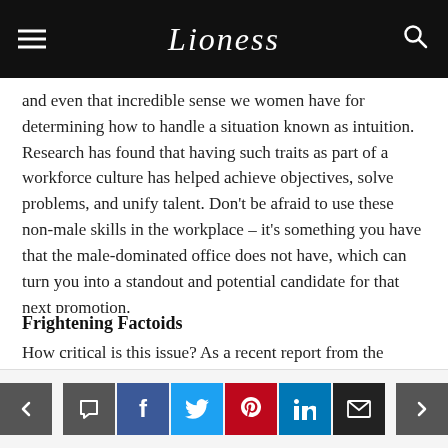Lioness
and even that incredible sense we women have for determining how to handle a situation known as intuition. Research has found that having such traits as part of a workforce culture has helped achieve objectives, solve problems, and unify talent. Don't be afraid to use these non-male skills in the workplace – it's something you have that the male-dominated office does not have, which can turn you into a standout and potential candidate for that next promotion.
Frightening Factoids
How critical is this issue? As a recent report from the Center for American Progress indicates...
Social share buttons: comment, facebook, twitter, pinterest, linkedin, email